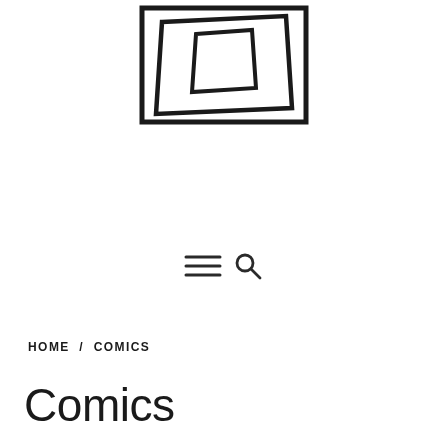[Figure (logo): Nested squares/trapezoid logo mark — abstract icon with concentric rectangular/trapezoidal shapes in black outline on white background]
[Figure (other): Hamburger menu icon (three horizontal lines) and magnifying glass search icon]
HOME / COMICS
Comics